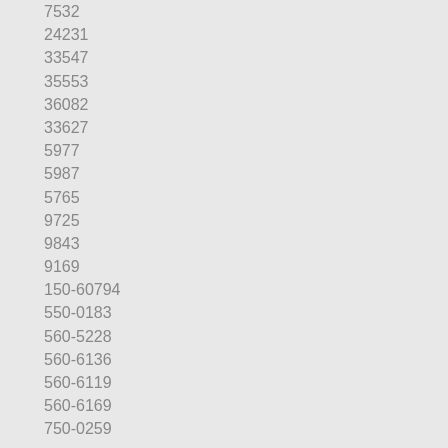7532
24231
33547
35553
36082
33627
5977
5987
5765
9725
9843
9169
150-60794
550-0183
560-5228
560-6136
560-6119
560-6169
750-0259